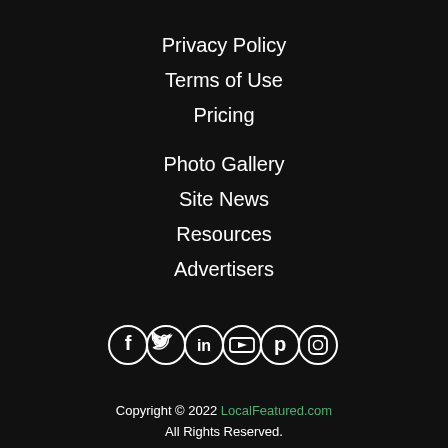Privacy Policy
Terms of Use
Pricing
Photo Gallery
Site News
Resources
Advertisers
[Figure (illustration): Row of 6 social media icons in white circles: Facebook, Twitter, LinkedIn, YouTube, Pinterest, Instagram]
Copyright © 2022 LocalFeatured.com All Rights Reserved.